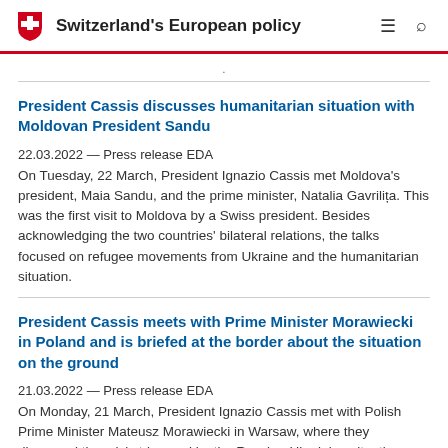Switzerland's European policy
President Cassis discusses humanitarian situation with Moldovan President Sandu
22.03.2022 — Press release EDA
On Tuesday, 22 March, President Ignazio Cassis met Moldova's president, Maia Sandu, and the prime minister, Natalia Gavrilița. This was the first visit to Moldova by a Swiss president. Besides acknowledging the two countries' bilateral relations, the talks focused on refugee movements from Ukraine and the humanitarian situation.
President Cassis meets with Prime Minister Morawiecki in Poland and is briefed at the border about the situation on the ground
21.03.2022 — Press release EDA
On Monday, 21 March, President Ignazio Cassis met with Polish Prime Minister Mateusz Morawiecki in Warsaw, where they discussed the crisis triggered by the Russian-Ukrainian situation, together the...